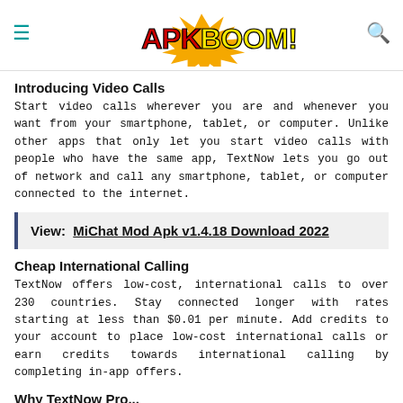APKBOOM! [logo with menu and search icons]
Introducing Video Calls
Start video calls wherever you are and whenever you want from your smartphone, tablet, or computer. Unlike other apps that only let you start video calls with people who have the same app, TextNow lets you go out of network and call any smartphone, tablet, or computer connected to the internet.
View:  MiChat Mod Apk v1.4.18 Download 2022
Cheap International Calling
TextNow offers low-cost, international calls to over 230 countries. Stay connected longer with rates starting at less than $0.01 per minute. Add credits to your account to place low-cost international calls or earn credits towards international calling by completing in-app offers.
Why TextNow Pro...